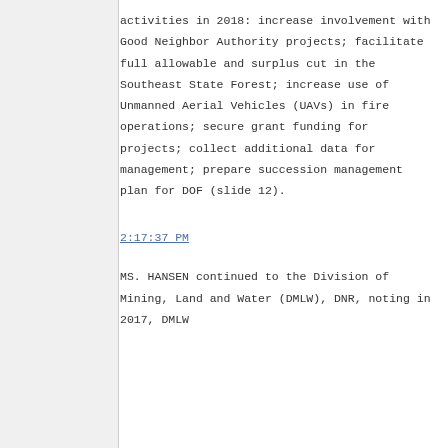activities in 2018: increase involvement with Good Neighbor Authority projects; facilitate full allowable and surplus cut in the Southeast State Forest; increase use of Unmanned Aerial Vehicles (UAVs) in fire operations; secure grant funding for projects; collect additional data for management; prepare succession management plan for DOF (slide 12).
2:17:37 PM
MS. HANSEN continued to the Division of Mining, Land and Water (DMLW), DNR, noting in 2017, DMLW